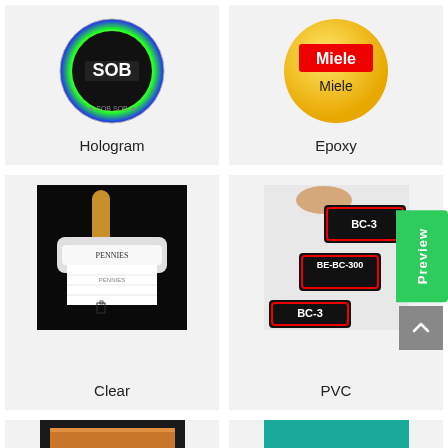[Figure (photo): Hologram label - circular rainbow holographic sticker with SOB text]
Hologram
[Figure (photo): Epoxy label - yellow circular dome sticker with Miele branding in red and black]
Epoxy
[Figure (photo): Clear label - transparent sticker being applied from a roll with Pennies branding]
Clear
[Figure (photo): PVC label - black rectangular labels with red border and BC-300 text]
PVC
[Figure (photo): Partial view of a black label product with wooden top]
[Figure (photo): Partial view of a teal/turquoise sticker label]